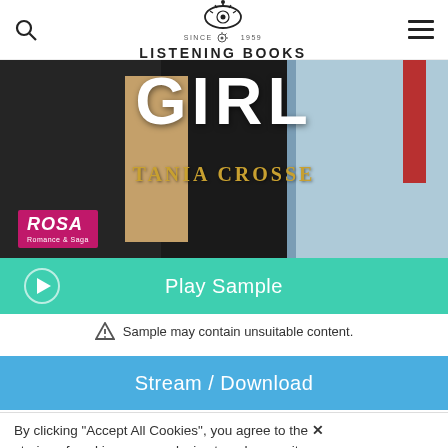Listening Books — since 1959
[Figure (photo): Book cover showing 'GIRL' by Tania Crosse with dark coat/jacket background, ROSA Romance & Saga badge in bottom left]
Play Sample
⚠ Sample may contain unsuitable content.
Stream / Download
By clicking "Accept All Cookies", you agree to the storing of cookies on your device to enhance site navigation, analyze site usage, and assist in our